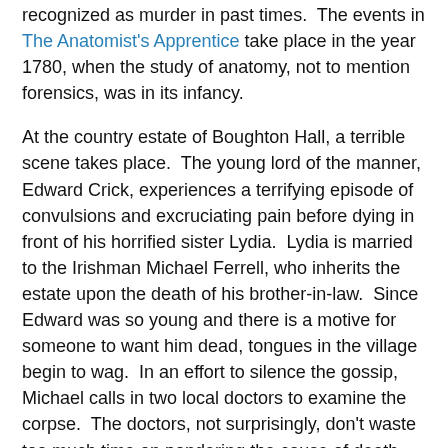recognized as murder in past times.  The events in The Anatomist's Apprentice take place in the year 1780, when the study of anatomy, not to mention forensics, was in its infancy.
At the country estate of Boughton Hall, a terrible scene takes place.  The young lord of the manner, Edward Crick, experiences a terrifying episode of convulsions and excruciating pain before dying in front of his horrified sister Lydia.  Lydia is married to the Irishman Michael Ferrell, who inherits the estate upon the death of his brother-in-law.  Since Edward was so young and there is a motive for someone to want him dead, tongues in the village begin to wag.  In an effort to silence the gossip, Michael calls in two local doctors to examine the corpse.  The doctors, not surprisingly, don't waste too much time on pondering the cause of death, and decide it was from natural causes.
Lydia's cousin, Francis Crick, is a medical student who is studying under the American Dr. Thomas Silkstone.  He mentions the pioneering work in anatomy and chemical analysis that Dr. Silkstone is doing, which causes Lydia to